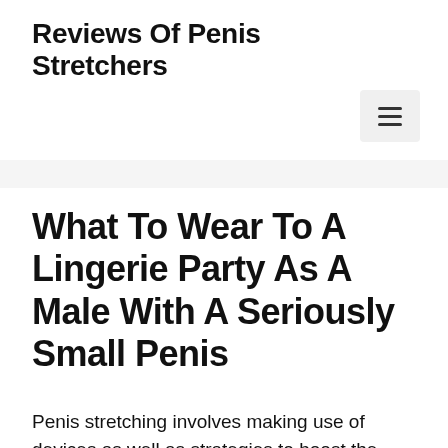Reviews Of Penis Stretchers
What To Wear To A Lingerie Party As A Male With A Seriously Small Penis
Penis stretching involves making use of devices as well as strategies to boost the